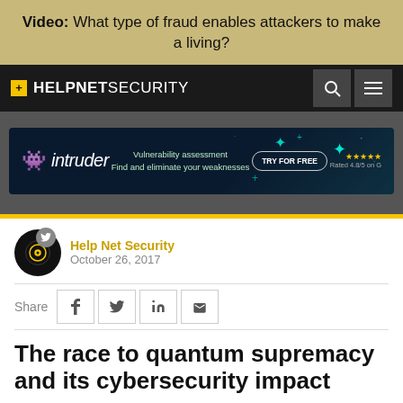Video: What type of fraud enables attackers to make a living?
[Figure (logo): Help Net Security navigation bar with logo, search and menu icons]
[Figure (screenshot): Intruder advertisement banner: Vulnerability assessment, Find and eliminate your weaknesses, TRY FOR FREE, Rated 4.8/5 on G2]
Help Net Security
October 26, 2017
The race to quantum supremacy and its cybersecurity impact
Quantum computing uses the power of atoms to perform